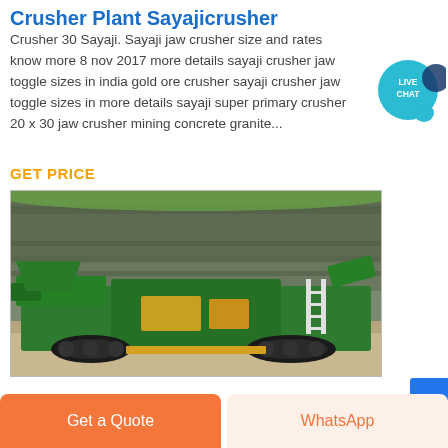Crusher Plant Sayajicrusher
Crusher 30 Sayaji. Sayaji jaw crusher size and rates know more 8 nov 2017 more details sayaji crusher jaw toggle sizes in india gold ore crusher sayaji crusher jaw toggle sizes in more details sayaji super primary crusher 20 x 30 jaw crusher mining concrete granite...
GET PRICE
[Figure (photo): Green mobile crusher plant machinery in a quarry with rocky cliff face background]
Get a Quote
WhatsApp